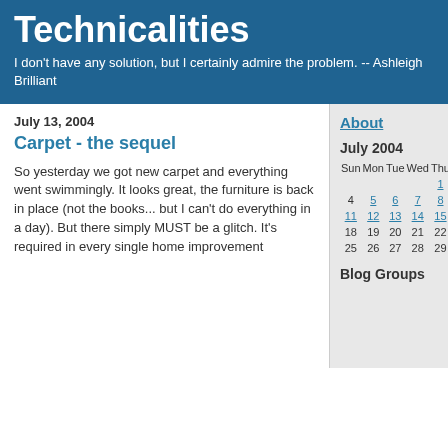Technicalities
I don't have any solution, but I certainly admire the problem. -- Ashleigh Brilliant
July 13, 2004
Carpet - the sequel
So yesterday we got new carpet and everything went swimmingly. It looks great, the furniture is back in place (not the books... but I can't do everything in a day). But there simply MUST be a glitch. It's required in every single home improvement
About
July 2004
| Sun | Mon | Tue | Wed | Thu | Fri | Sat |
| --- | --- | --- | --- | --- | --- | --- |
|  |  |  |  | 1 | 2 | 3 |
| 4 | 5 | 6 | 7 | 8 | 9 | 10 |
| 11 | 12 | 13 | 14 | 15 | 16 | 17 |
| 18 | 19 | 20 | 21 | 22 | 23 | 24 |
| 25 | 26 | 27 | 28 | 29 | 30 | 31 |
Blog Groups